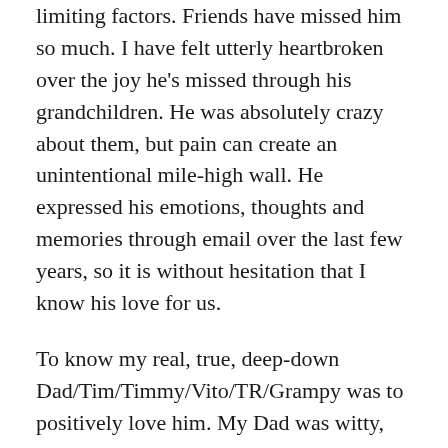limiting factors. Friends have missed him so much. I have felt utterly heartbroken over the joy he's missed through his grandchildren. He was absolutely crazy about them, but pain can create an unintentional mile-high wall. He expressed his emotions, thoughts and memories through email over the last few years, so it is without hesitation that I know his love for us.
To know my real, true, deep-down Dad/Tim/Timmy/Vito/TR/Grampy was to positively love him. My Dad was witty, incredibly giving and compassionate. My brother and I would agree what we may miss the most is this small part of him that would peek out at rare times over the years and make us have deep giggles. His humor was so clever. I miss it so much. He modeled hard work and because of that hard work, my husband and I were able to take over the business that he and my mom created decades ago. He